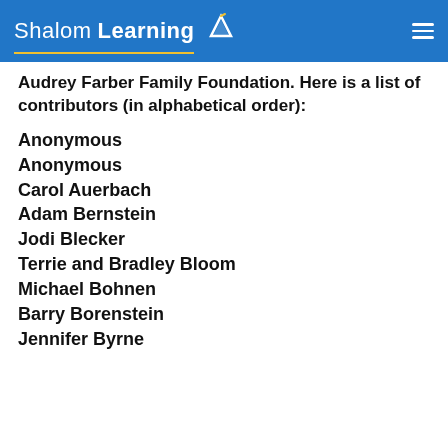ShalomLearning
Audrey Farber Family Foundation. Here is a list of contributors (in alphabetical order):
Anonymous
Anonymous
Carol Auerbach
Adam Bernstein
Jodi Blecker
Terrie and Bradley Bloom
Michael Bohnen
Barry Borenstein
Jennifer Byrne